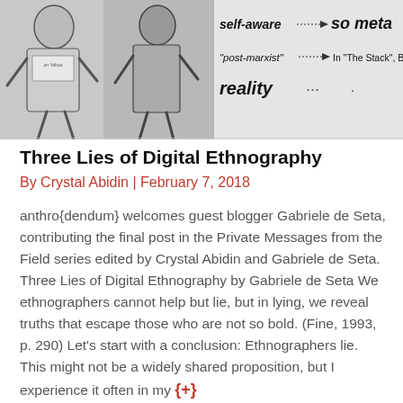[Figure (illustration): Cropped illustration showing cartoon figures with text labels: 'self-aware' with arrow pointing to 'so meta', 'post-marxist' with arrow pointing to 'In "The Stack", Bratton ar', and partially visible 'reality' text. Black and white sketch style.]
Three Lies of Digital Ethnography
By Crystal Abidin | February 7, 2018
anthro{dendum} welcomes guest blogger Gabriele de Seta, contributing the final post in the Private Messages from the Field series edited by Crystal Abidin and Gabriele de Seta. Three Lies of Digital Ethnography by Gabriele de Seta We ethnographers cannot help but lie, but in lying, we reveal truths that escape those who are not so bold. (Fine, 1993, p. 290) Let’s start with a conclusion: Ethnographers lie. This might not be a widely shared proposition, but I experience it often in my {+}